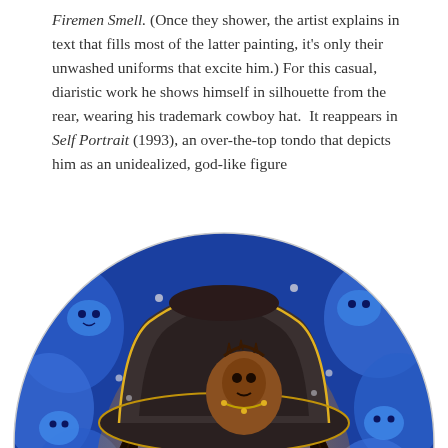Firemen Smell. (Once they shower, the artist explains in text that fills most of the latter painting, it's only their unwashed uniforms that excite him.) For this casual, diaristic work he shows himself in silhouette from the rear, wearing his trademark cowboy hat.  It reappears in Self Portrait (1993), an over-the-top tondo that depicts him as an unidealized, god-like figure
[Figure (illustration): A circular tondo painting (Self Portrait, 1993) depicting a man wearing a large cowboy hat with long flowing dark hair and a mustache. A smaller crowned figure appears inside the hat brim. The background is vivid blue with swirling cloud-like figures and creatures. Gold outlines accent the composition.]